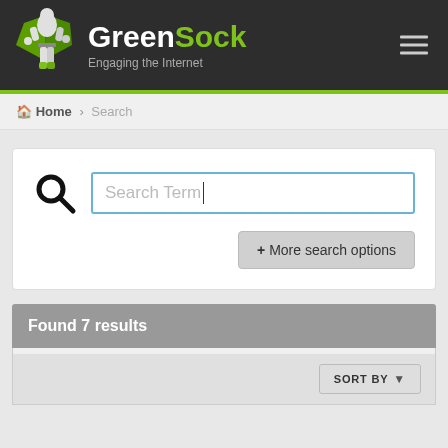GreenSock — Engaging the Internet
Home > Search
[Figure (screenshot): Search input field with magnifying glass icon and placeholder text 'Search Term'. Below is a '+ More search options' button.]
Found 7 results
SORT BY